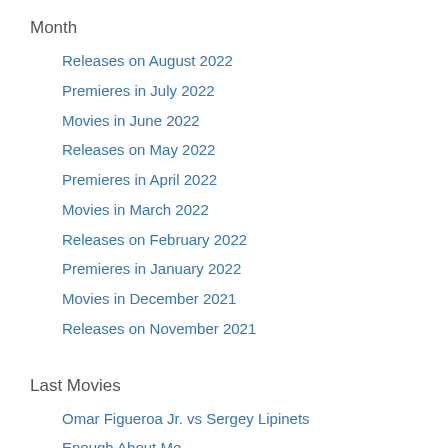Month
Releases on August 2022
Premieres in July 2022
Movies in June 2022
Releases on May 2022
Premieres in April 2022
Movies in March 2022
Releases on February 2022
Premieres in January 2022
Movies in December 2021
Releases on November 2021
Last Movies
Omar Figueroa Jr. vs Sergey Lipinets
Enough About Me
Little Warrior
Lettuce Room